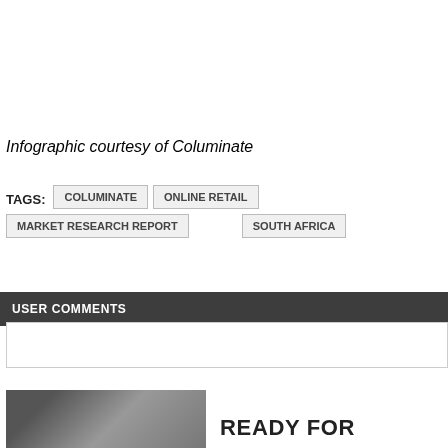Infographic courtesy of Columinate
TAGS: COLUMINATE | ONLINE RETAIL | MARKET RESEARCH REPORT | SOUTH AFRICA
USER COMMENTS
[Figure (photo): Photo of a person outdoors]
READY FOR